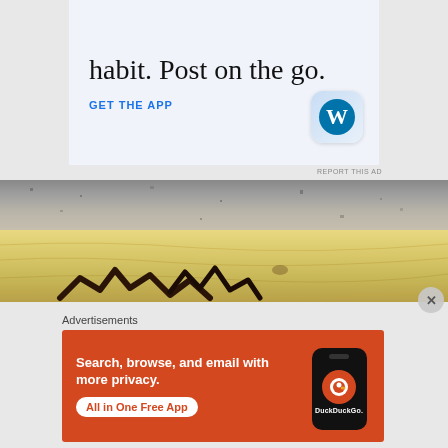[Figure (screenshot): WordPress app advertisement with text 'habit. Post on the go.' and 'GET THE APP' link, with WordPress logo icon]
REPORT THIS AD
[Figure (photo): Close-up photo of granite stone surface above a wood plank with dark debris/twigs visible at the bottom]
Advertisements
[Figure (screenshot): DuckDuckGo advertisement with orange background, text 'Search, browse, and email with more privacy. All in One Free App' and phone mockup with DuckDuckGo logo]